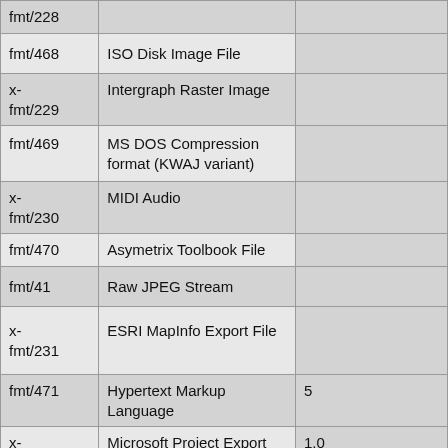| fmt/228 |  |  |
| fmt/468 | ISO Disk Image File |  |
| x-fmt/229 | Intergraph Raster Image |  |
| fmt/469 | MS DOS Compression format (KWAJ variant) |  |
| x-fmt/230 | MIDI Audio |  |
| fmt/470 | Asymetrix Toolbook File |  |
| fmt/41 | Raw JPEG Stream |  |
| x-fmt/231 | ESRI MapInfo Export File |  |
| fmt/471 | Hypertext Markup Language | 5 |
| x-fmt/232 | Microsoft Project Export File | 1.0 |